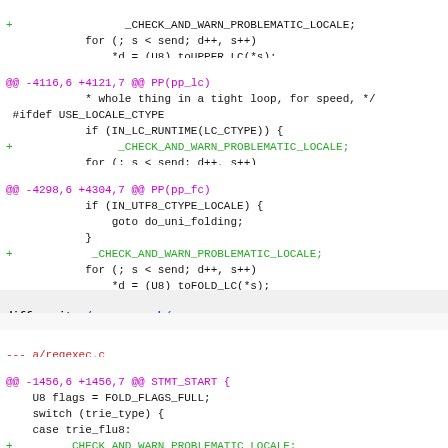[Figure (screenshot): Git diff output showing code changes to pp_lc, pp_fc functions and regexec.c file with additions of _CHECK_AND_WARN_PROBLEMATIC_LOCALE macro]
code diff content as shown